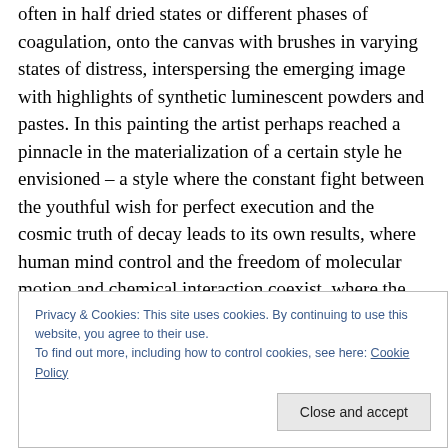often in half dried states or different phases of coagulation, onto the canvas with brushes in varying states of distress, interspersing the emerging image with highlights of synthetic luminescent powders and pastes. In this painting the artist perhaps reached a pinnacle in the materialization of a certain style he envisioned – a style where the constant fight between the youthful wish for perfect execution and the cosmic truth of decay leads to its own results, where human mind control and the freedom of molecular motion and chemical interaction coexist, where the Jungian amateur pursuing personal narcissistic goals
Privacy & Cookies: This site uses cookies. By continuing to use this website, you agree to their use.
To find out more, including how to control cookies, see here: Cookie Policy
Close and accept